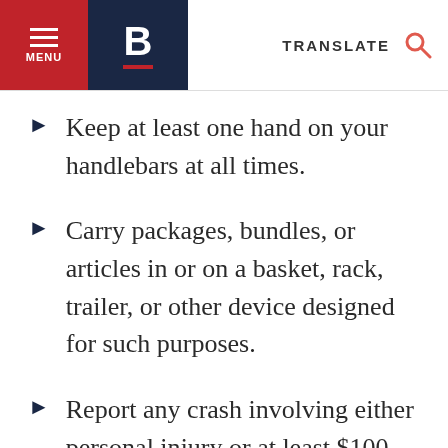MENU | B | TRANSLATE
Keep at least one hand on your handlebars at all times.
Carry packages, bundles, or articles in or on a basket, rack, trailer, or other device designed for such purposes.
Report any crash involving either personal injury or at least $100 worth